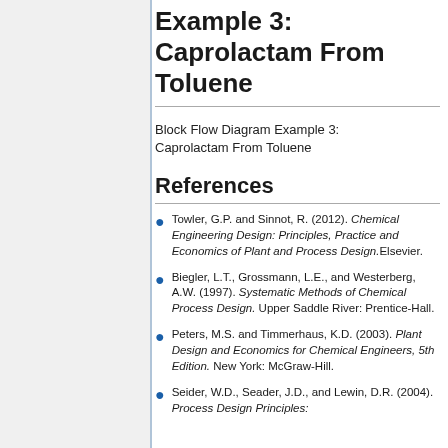Example 3: Caprolactam From Toluene
Block Flow Diagram Example 3: Caprolactam From Toluene
References
Towler, G.P. and Sinnot, R. (2012). Chemical Engineering Design: Principles, Practice and Economics of Plant and Process Design.Elsevier.
Biegler, L.T., Grossmann, L.E., and Westerberg, A.W. (1997). Systematic Methods of Chemical Process Design. Upper Saddle River: Prentice-Hall.
Peters, M.S. and Timmerhaus, K.D. (2003). Plant Design and Economics for Chemical Engineers, 5th Edition. New York: McGraw-Hill.
Seider, W.D., Seader, J.D., and Lewin, D.R. (2004). Process Design Principles: